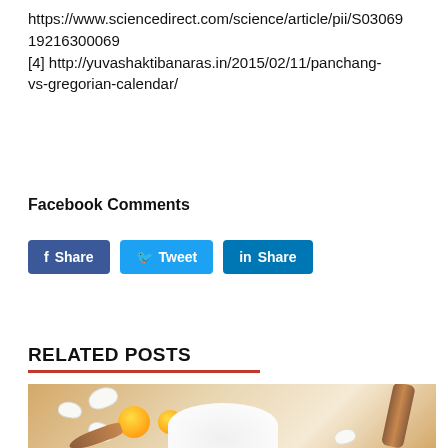https://www.sciencedirect.com/science/article/pii/S030691921630006919216300069
[4] http://yuvashaktibanaras.in/2015/02/11/panchang-vs-gregorian-calendar/
Facebook Comments
[Figure (other): Social media sharing buttons: Facebook Share (blue), Twitter Tweet (blue), LinkedIn Share (blue)]
RELATED POSTS
[Figure (photo): Photo of eggs, eggshells, flour, wooden spoon, and rolling pin on a wooden surface]